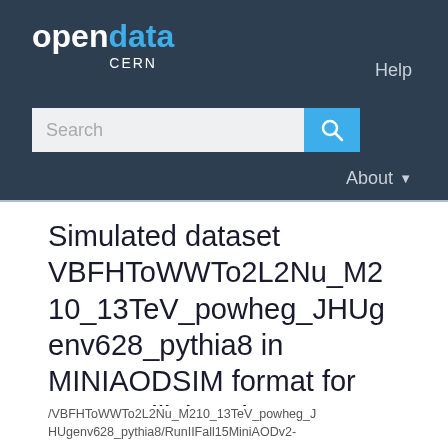opendata CERN
Simulated dataset VBFHToWWTo2L2Nu_M210_13TeV_powheg_JHUgenv628_pythia8 in MINIAODSIM format for 2015 collision data
/VBFHToWWTo2L2Nu_M210_13TeV_powheg_JHUgenv628_pythia8/RunIIFall15MiniAODv2-